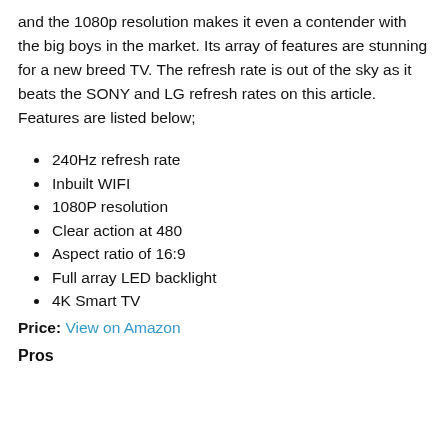and the 1080p resolution makes it even a contender with the big boys in the market. Its array of features are stunning for a new breed TV. The refresh rate is out of the sky as it beats the SONY and LG refresh rates on this article. Features are listed below;
240Hz refresh rate
Inbuilt WIFI
1080P resolution
Clear action at 480
Aspect ratio of 16:9
Full array LED backlight
4K Smart TV
Price: View on Amazon
Pros